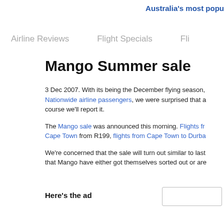Australia's most popu
Airline Reviews   Flight Specials   Fli
Mango Summer sale
3 Dec 2007. With its being the December flying season, Nationwide airline passengers, we were surprised that a course we'll report it.
The Mango sale was announced this morning. Flights fr Cape Town from R199, flights from Cape Town to Durba
We're concerned that the sale will turn out similar to last that Mango have either got themselves sorted out or are
Here's the ad